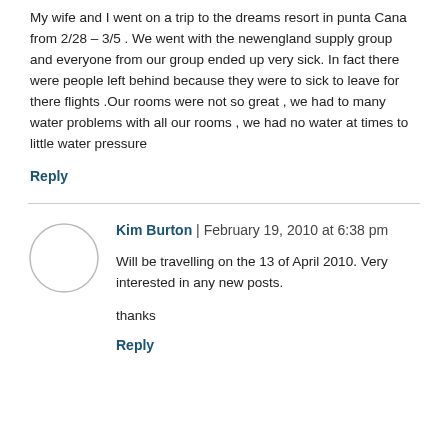My wife and I went on a trip to the dreams resort in punta Cana from 2/28 – 3/5 . We went with the newengland supply group and everyone from our group ended up very sick. In fact there were people left behind because they were to sick to leave for there flights .Our rooms were not so great , we had to many water problems with all our rooms , we had no water at times to little water pressure
Reply
Kim Burton | February 19, 2010 at 6:38 pm
Will be travelling on the 13 of April 2010. Very interested in any new posts.
thanks
Reply